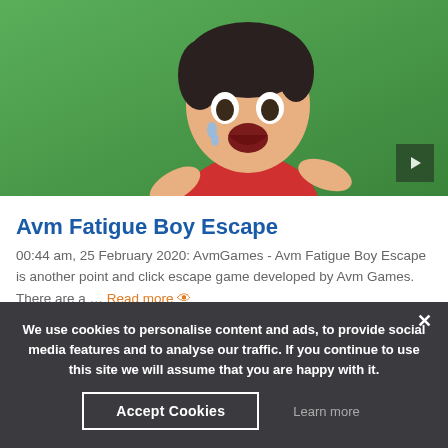[Figure (illustration): Cartoon animated boy character with open mouth on green background with a play button overlay in the bottom right corner]
Avm Fatigue Boy Escape
00:44 am, 25 February 2020: AvmGames - Avm Fatigue Boy Escape is another point and click escape game developed by Avm Games. There are a ... Read more 👁 741
[Figure (illustration): Cartoon animated girl character with blonde hair and blue eyes on green/brown background]
We use cookies to personalise content and ads, to provide social media features and to analyse our traffic. If you continue to use this site we will assume that you are happy with it.
Accept Cookies   Learn more